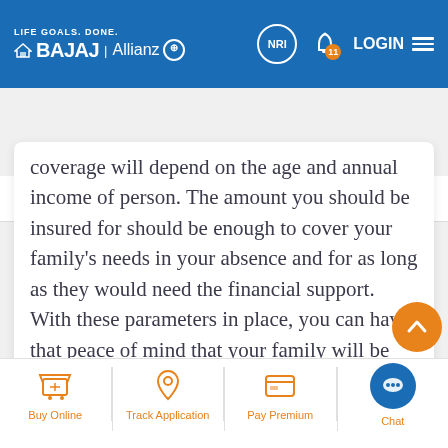[Figure (logo): Bajaj Allianz Life Insurance header logo with LIFE GOALS. DONE. tagline, NRI button, notification bell with badge 11, LOGIN and hamburger menu]
Calculation Guide | Factors Affect | Usage Guide
coverage will depend on the age and annual income of person. The amount you should be insured for should be enough to cover your family's needs in your absence and for as long as they would need the financial support. With these parameters in place, you can have that peace of mind that your family will be able to go on to achieving their life goals even if you are not there to provide for them.
Buy Online | Track Application | Pay Premium | Chat